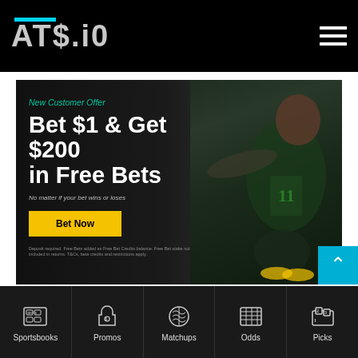ATS.IO navigation header with logo and hamburger menu
[Figure (screenshot): Sports betting promotional banner with basketball player silhouette. Text reads: New Customer Offer / Bet $1 & Get $200 in Free Bets / No matter if your bet wins or loses / Bet Now button. Fine print: Deposit required. Free Bets added as Free Bet Credits balance. Free Bet stake not included in returns. T&Cs, data credits and restrictions apply.]
Sportsbook Promotions
Sportsbooks | Promos | Matchups | Odds | Picks